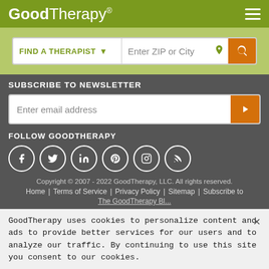[Figure (logo): GoodTherapy logo in white on olive green header, with hamburger menu icon on right]
[Figure (screenshot): Search bar with FIND A THERAPIST dropdown, Enter ZIP or City input, location pin icon, and orange search button]
SUBSCRIBE TO NEWSLETTER
[Figure (screenshot): Email subscription input field with orange arrow submit button]
FOLLOW GOODTHERAPY
[Figure (screenshot): Social media icons: Facebook, Twitter, LinkedIn, Pinterest, Instagram, RSS]
Copyright © 2007 - 2022 GoodTherapy, LLC. All rights reserved.
Home | Terms of Service | Privacy Policy | Sitemap | Subscribe to
The GoodTherapy Bl...
GoodTherapy uses cookies to personalize content and ads to provide better services for our users and to analyze our traffic. By continuing to use this site you consent to our cookies.